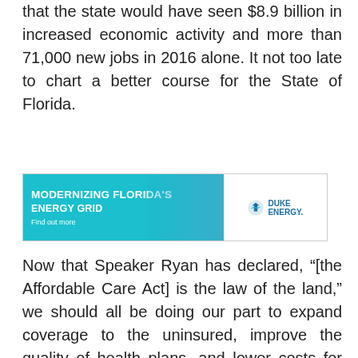that the state would have seen $8.9 billion in increased economic activity and more than 71,000 new jobs in 2016 alone. It not too late to chart a better course for the State of Florida.
[Figure (other): Duke Energy advertisement banner: 'Modernizing Florida's Energy Grid — Find out more' with Duke Energy logo on white background, teal/cyan colored left section with workers in background.]
Now that Speaker Ryan has declared, “[the Affordable Care Act] is the law of the land,” we should all be doing our part to expand coverage to the uninsured, improve the quality of health plans, and lower costs for everyone. Expanding eligibility to all Floridians with annual income below 138 percent of the federal poverty level–less than $30,000 per year for a family of